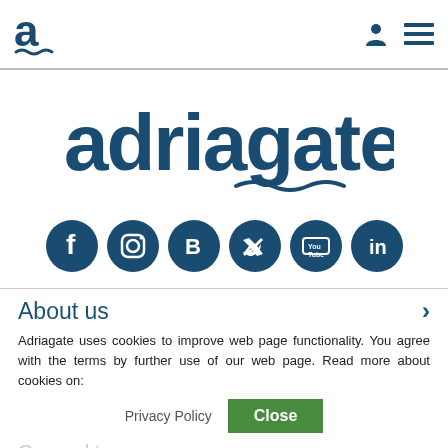[Figure (logo): Adriagate small logo in header (letter a with wave)]
[Figure (logo): Adriagate large brand logo text with wave underline]
[Figure (infographic): Row of 6 social media icons: Facebook, Instagram, Blogger, Twitter, YouTube, LinkedIn]
About us
Adriagate uses cookies to improve web page functionality. You agree with the terms by further use of our web page. Read more about cookies on:
Privacy Policy   Close
General terms